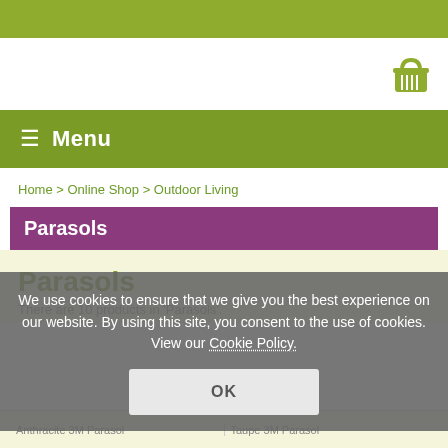[Figure (other): Shopping basket/cart icon in olive green]
≡ Menu
Home > Online Shop > Outdoor Living
Parasols
Parasols
There are 10 products in 'Parasols'.
We use cookies to ensure that we give you the best experience on our website. By using this site, you consent to the use of cookies. View our Cookie Policy.
OK
Anthracite 3M Parasol
Taupe 3M Parasol